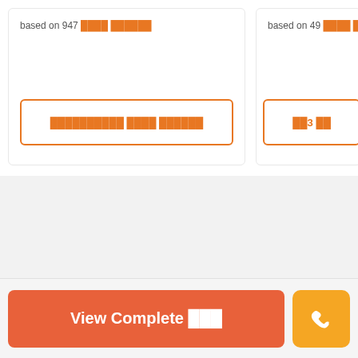based on 947 ████ ██████
based on 49 ████ █████
██████████ ████ ██████
██3 ██
[Figure (other): Ad placeholder circle with 'Ad' badge in center, on light grey background]
View Complete ███